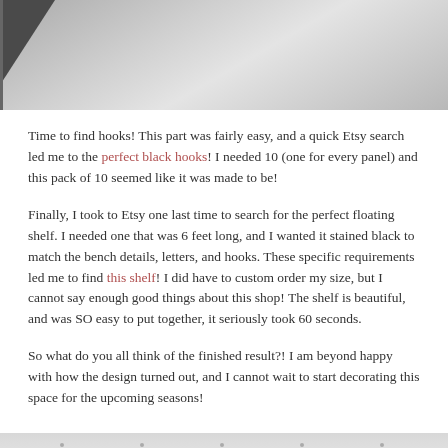[Figure (photo): Top cropped photo showing a ceiling or white surface with dark corner detail]
Time to find hooks! This part was fairly easy, and a quick Etsy search led me to the perfect black hooks! I needed 10 (one for every panel) and this pack of 10 seemed like it was made to be!
Finally, I took to Etsy one last time to search for the perfect floating shelf. I needed one that was 6 feet long, and I wanted it stained black to match the bench details, letters, and hooks. These specific requirements led me to find this shelf! I did have to custom order my size, but I cannot say enough good things about this shop! The shelf is beautiful, and was SO easy to put together, it seriously took 60 seconds.
So what do you all think of the finished result?! I am beyond happy with how the design turned out, and I cannot wait to start decorating this space for the upcoming seasons!
[Figure (photo): Bottom cropped photo showing a ceiling or white surface, partial view]